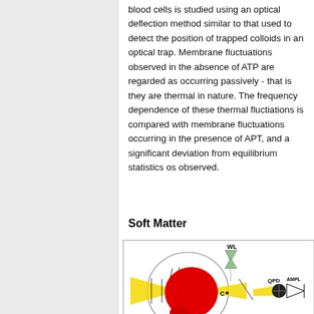blood cells is studied using an optical deflection method similar to that used to detect the position of trapped colloids in an optical trap. Membrane fluctuations observed in the absence of ATP are regarded as occurring passively - that is they are thermal in nature. The frequency dependence of these thermal fluctiations is compared with membrane fluctuations occurring in the presence of APT, and a significant deviation from equilibrium statistics os observed.
Soft Matter
[Figure (schematic): Schematic diagram of an optical deflection experimental setup showing a red blood cell (large red circle) illuminated by yellow laser beams, with a beam splitter, a QPD (quadrant photodetector), an AMPL amplifier block, and a WL white light source labeled above. A point C marks the beam focus near the cell.]